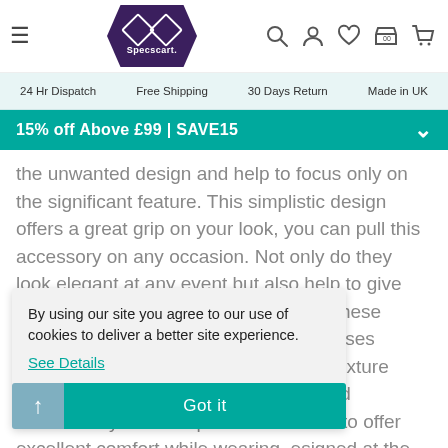Specscart — 24 Hr Dispatch | Free Shipping | 30 Days Return | Made in UK
15% off Above £99 | SAVE15
the unwanted design and help to focus only on the significant feature. This simplistic design offers a great grip on your look, you can pull this accessory on any occasion. Not only do they look elegant at any event but also help to give you a sharp and artistic appearance. These Weightless metal silver blue round glasses feature thin full-rimmed shining silver texture frames. It contains a robust, refined and otherworldly ed nose pads. The enses to offer excellent comfort while wearing. esigned at the  down in size to ends Get the essence of the
By using our site you agree to our use of cookies to deliver a better site experience.
See Details
Got it